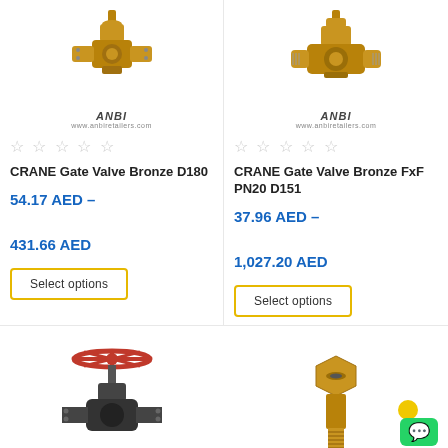[Figure (photo): CRANE Gate Valve Bronze D180 product photo - brass gate valve]
[Figure (photo): CRANE Gate Valve Bronze FxF PN20 D151 product photo - brass gate valve]
ANBI logo and website www.anbiretailers.com - left product
ANBI logo and website www.anbiretailers.com - right product
★★★★★ (empty stars rating) - left product
★★★★★ (empty stars rating) - right product
CRANE Gate Valve Bronze D180
CRANE Gate Valve Bronze FxF PN20 D151
54.17 AED – 431.66 AED
37.96 AED – 1,027.20 AED
Select options
Select options
[Figure (photo): Globe valve with red handwheel - bottom left product]
[Figure (photo): Brass fitting/valve - bottom right product]
[Figure (logo): WhatsApp floating button]